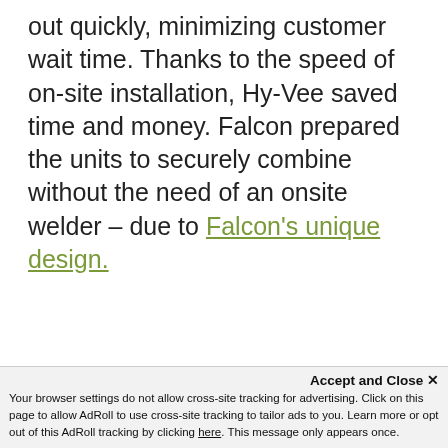out quickly, minimizing customer wait time. Thanks to the speed of on-site installation, Hy-Vee saved time and money. Falcon prepared the units to securely combine without the need of an onsite welder – due to Falcon's unique design.
This website stores cookies on your computer. These cookies are used to collect information about how you interact with our website and allow us to remember you. We use this information in order to improve and customize your browsing experience and for analytics and metrics about our visitors both on this website and other media. To find out more about the cookies we use, see our Privacy Policy.
Accept and Close ✕
Your browser settings do not allow cross-site tracking for advertising. Click on this page to allow AdRoll to use cross-site tracking to tailor ads to you. Learn more or opt out of this AdRoll tracking by clicking here. This message only appears once.